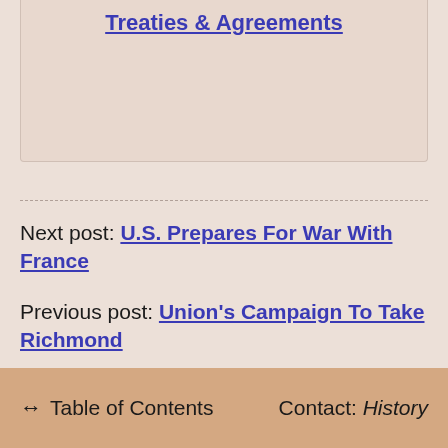Treaties & Agreements
Next post: U.S. Prepares For War With France
Previous post: Union's Campaign To Take Richmond
↔ Table of Contents   Contact: History